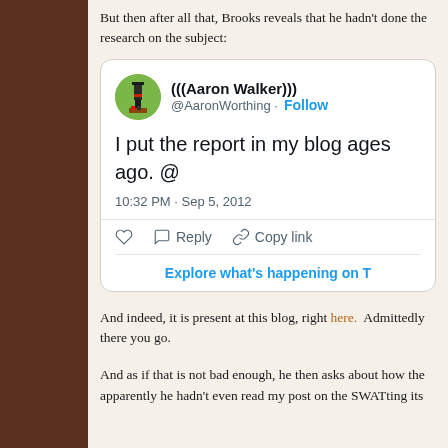But then after all that, Brooks reveals that he hadn't done the research on the subject:
[Figure (screenshot): Tweet from (((Aaron Walker))) @AaronWorthing with Follow button. Tweet text: 'I put the report in my blog ages ago. @'. Timestamp: 10:32 PM · Sep 5, 2012. Actions: like, Reply, Copy link. Explore what's happening on T button.]
And indeed, it is present at this blog, right here.  Admittedly there you go.
And as if that is not bad enough, he then asks about how the apparently he hadn't even read my post on the SWATting its